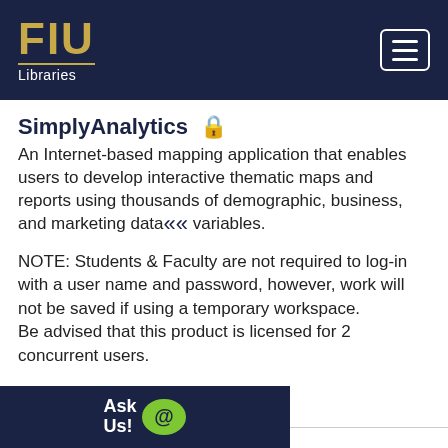FIU Libraries
SimplyAnalytics 🔒
An Internet-based mapping application that enables users to develop interactive thematic maps and reports using thousands of demographic, business, and marketing data variables.
NOTE: Students & Faculty are not required to log-in with a user name and password, however, work will not be saved if using a temporary workspace.
Be advised that this product is licensed for 2 concurrent users.
Ask Us!